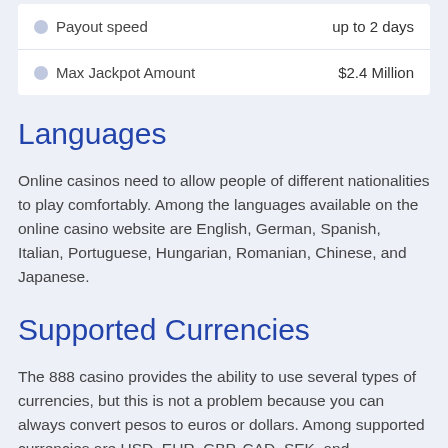| 🔲Payout speed | up to 2 days |
| 🔲Max Jackpot Amount | $2.4 Million |
Languages
Online casinos need to allow people of different nationalities to play comfortably. Among the languages available on the online casino website are English, German, Spanish, Italian, Portuguese, Hungarian, Romanian, Chinese, and Japanese.
Supported Currencies
The 888 casino provides the ability to use several types of currencies, but this is not a problem because you can always convert pesos to euros or dollars. Among supported currencies are USD, EUR, GBP, CAD, SEK, and